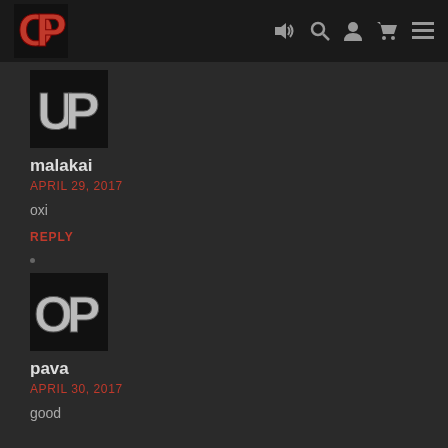[Figure (logo): OP logo with stylized letters O and P in red on black background, top left header]
Navigation icons: speaker, search, user, cart, menu
[Figure (logo): User avatar with stylized letters UP in metallic style on dark background]
malakai
APRIL 29, 2017
oxi
REPLY
[Figure (logo): OP logo avatar with stylized letters O and P in metallic style on dark background]
pava
APRIL 30, 2017
good